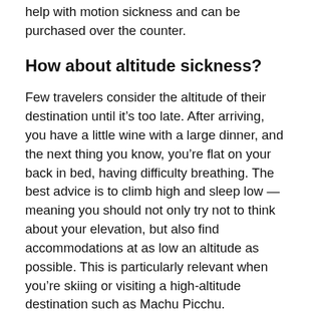help with motion sickness and can be purchased over the counter.
How about altitude sickness?
Few travelers consider the altitude of their destination until it’s too late. After arriving, you have a little wine with a large dinner, and the next thing you know, you’re flat on your back in bed, having difficulty breathing. The best advice is to climb high and sleep low — meaning you should not only try not to think about your elevation, but also find accommodations at as low an altitude as possible. This is particularly relevant when you’re skiing or visiting a high-altitude destination such as Machu Picchu.
Also, avoid drinking alcohol, and maintain adequate hydration and a high-carb diet. To do that, start drinking lots of water a few days before your trip and drink even if